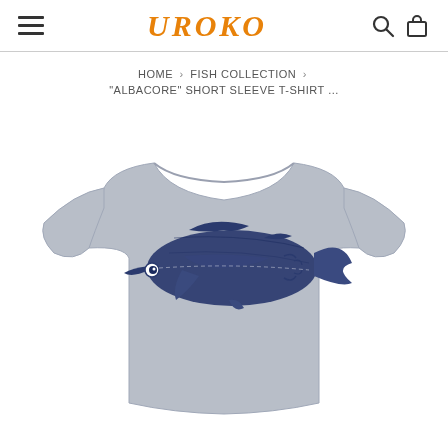UROKO
HOME > FISH COLLECTION > "ALBACORE" SHORT SLEEVE T-SHIRT ...
[Figure (photo): Gray heather short sleeve t-shirt with a dark navy blue illustration of an albacore tuna fish printed on the chest area, displayed flat on a white background.]